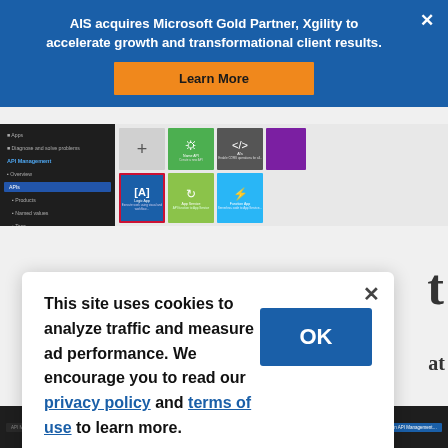AIS acquires Microsoft Gold Partner, Xgility to accelerate growth and transformational client results.
Learn More
[Figure (screenshot): Screenshot of Azure portal API Management interface showing dark left navigation panel and colorful service tiles on the right]
This site uses cookies to analyze traffic and measure ad performance. We encourage you to read our privacy policy and terms of use to learn more.
OK
[Figure (screenshot): Partial screenshot of another web page below the cookie dialog]